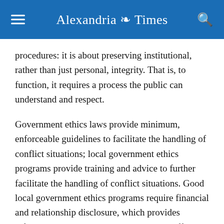Alexandria Times
procedures: it is about preserving institutional, rather than just personal, integrity. That is, to function, it requires a process the public can understand and respect.
Government ethics laws provide minimum, enforceable guidelines to facilitate the handling of conflict situations; local government ethics programs provide training and advice to further facilitate the handling of conflict situations. Good local government ethics programs require financial and relationship disclosure, which provides information to help the public, as well as officials, better determine if conflicts might exist, so that they are more likely to be dealt with responsibly.
The principal goal of a municipal ethics program is to further